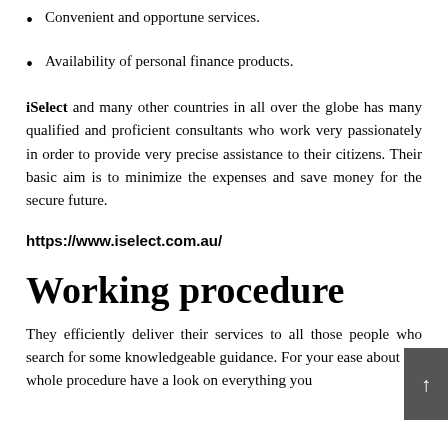Convenient and opportune services.
Availability of personal finance products.
iSelect and many other countries in all over the globe has many qualified and proficient consultants who work very passionately in order to provide very precise assistance to their citizens. Their basic aim is to minimize the expenses and save money for the secure future.
https://www.iselect.com.au/
Working procedure
They efficiently deliver their services to all those people who search for some knowledgeable guidance. For your ease about the whole procedure have a look on everything you